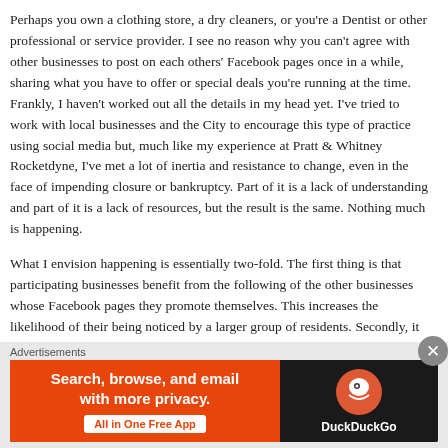Perhaps you own a clothing store, a dry cleaners, or you're a Dentist or other professional or service provider. I see no reason why you can't agree with other businesses to post on each others' Facebook pages once in a while, sharing what you have to offer or special deals you're running at the time. Frankly, I haven't worked out all the details in my head yet. I've tried to work with local businesses and the City to encourage this type of practice using social media but, much like my experience at Pratt & Whitney Rocketdyne, I've met a lot of inertia and resistance to change, even in the face of impending closure or bankruptcy. Part of it is a lack of understanding and part of it is a lack of resources, but the result is the same. Nothing much is happening.
What I envision happening is essentially two-fold. The first thing is that participating businesses benefit from the following of the other businesses whose Facebook pages they promote themselves. This increases the likelihood of their being noticed by a larger group of residents. Secondly, it also increases the chances people in outlying areas will become aware of local businesses, and increasing the possibility people from neighboring cities may drive on over to patronize our local businesses a bit more frequently.
Does this make sense to you? What do you think about promoting lo...
Advertisements
[Figure (other): DuckDuckGo advertisement banner: orange left section with text 'Search, browse, and email with more privacy.' and 'All in One Free App' button; dark right section with DuckDuckGo logo and name]